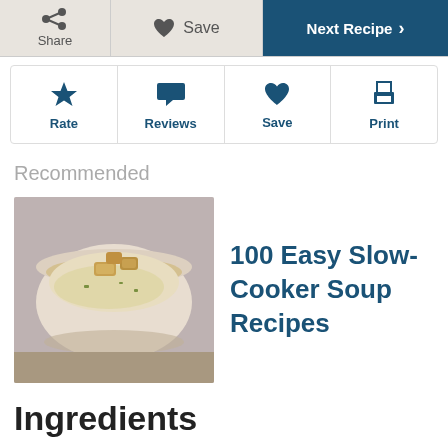Share  Save  Next Recipe >
[Figure (screenshot): Icon buttons row: Rate (star), Reviews (speech bubble), Save (heart), Print (printer)]
Recommended
[Figure (photo): Bowl of creamy soup with croutons on top]
100 Easy Slow-Cooker Soup Recipes
Ingredients